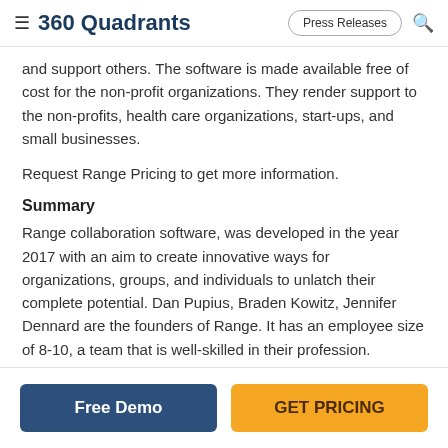≡ 360 Quadrants  Press Releases 🔍
and support others. The software is made available free of cost for the non-profit organizations. They render support to the non-profits, health care organizations, start-ups, and small businesses.
Request Range Pricing to get more information.
Summary
Range collaboration software, was developed in the year 2017 with an aim to create innovative ways for organizations, groups, and individuals to unlatch their complete potential. Dan Pupius, Braden Kowitz, Jennifer Dennard are the founders of Range. It has an employee size of 8-10, a team that is well-skilled in their profession.
Range Pricing
Free Demo
GET PRICING